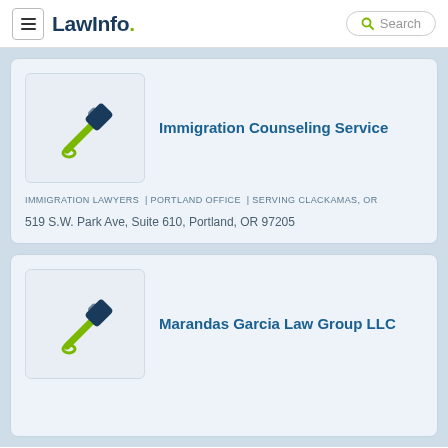LawInfo. Search
[Figure (logo): LawInfo logo with gavel icon for Immigration Counseling Service listing]
Immigration Counseling Service
IMMIGRATION LAWYERS | PORTLAND OFFICE | SERVING CLACKAMAS, OR
519 S.W. Park Ave, Suite 610, Portland, OR 97205
[Figure (logo): LawInfo logo with gavel icon for Marandas Garcia Law Group LLC listing]
Marandas Garcia Law Group LLC